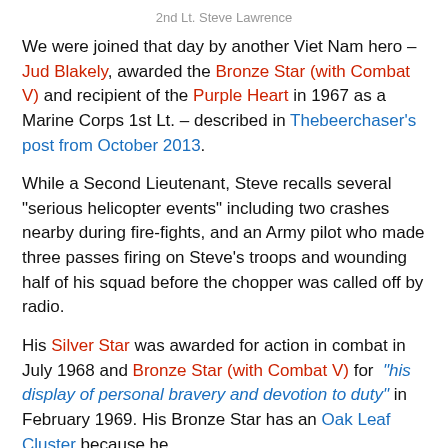2nd Lt. Steve Lawrence
We were joined that day by another Viet Nam hero – Jud Blakely, awarded the Bronze Star (with Combat V) and recipient of the Purple Heart in 1967 as a Marine Corps 1st Lt. – described in Thebeerchaser's post from October 2013.
While a Second Lieutenant, Steve recalls several "serious helicopter events" including two crashes nearby during fire-fights, and an Army pilot who made three passes firing on Steve's troops and wounding half of his squad before the chopper was called off by radio.
His Silver Star was awarded for action in combat in July 1968 and Bronze Star (with Combat V) for "his display of personal bravery and devotion to duty" in February 1969. His Bronze Star has an Oak Leaf Cluster because he